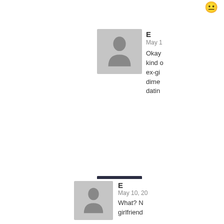[Figure (other): Small yellow emoji/reaction icon at top right]
[Figure (photo): Gray default avatar silhouette for user E]
E
May 1
Okay... kind of... ex-gi... dime... dating...
[Figure (photo): Profile photo of Goze: Ghostbusters Stay Puft Marshmallow Man figure with sailor hat, smiling]
Goze
May 1
No it'... then... perso... have...
As fo... ration... that t... Hell n... from... any c... plane...
[Figure (photo): Gray default avatar silhouette for user E (second instance)]
E
May 10, 20...
What? N... girlfriend...